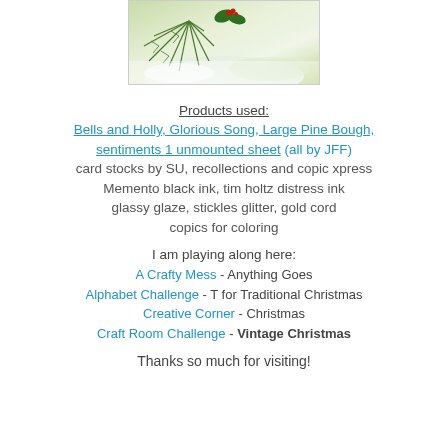[Figure (photo): Photo of pine branches with snow/winter greenery, partially cropped at top]
Products used:
Bells and Holly,  Glorious Song, Large Pine Bough, sentiments 1 unmounted sheet (all by JFF)
card stocks by SU, recollections and copic xpress
Memento black ink, tim holtz distress ink
glassy glaze, stickles glitter, gold cord
copics for coloring
I am playing along here:
A Crafty Mess -  Anything Goes
Alphabet Challenge -  T for Traditional Christmas
Creative Corner - Christmas
Craft Room Challenge  - Vintage Christmas
Thanks so much for visiting!